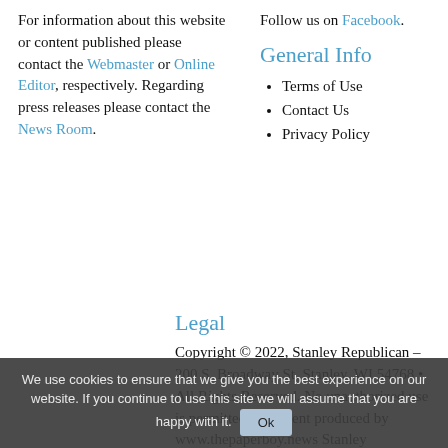For information about this website or content published please contact the Webmaster or Online Editor, respectively. Regarding press releases please contact the News Room.
Follow us on Facebook.
General Info
Terms of Use
Contact Us
Privacy Policy
Legal
Copyright © 2022, Stanley Republican – 200 S. Broadway St. Stanley, WI 54768 • All Rights Reserved. No unauthorized use is permitted of content produced by www.thepaperboy.news Stanley Republican or any other publication or media owned by Stanley Republican.
We use cookies to ensure that we give you the best experience on our website. If you continue to use this site we will assume that you are happy with it. Ok